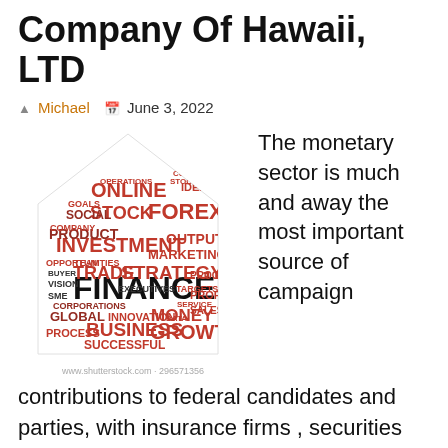Company Of Hawaii, LTD
Michael  June 3, 2022
[Figure (illustration): Word cloud in the shape of a house containing financial terms such as FINANCE, INVESTMENT, TRADE, STRATEGY, FOREX, STOCK, ONLINE, BUSINESS, GROWTH, MONEY, MARKETING, OUTPUT, PRODUCT, SOCIAL, GLOBAL, etc. in red and black colors. Watermark: www.shutterstock.com · 296571356]
The monetary sector is much and away the most important source of campaign contributions to federal candidates and parties, with insurance firms , securities and investment firms, actual estate